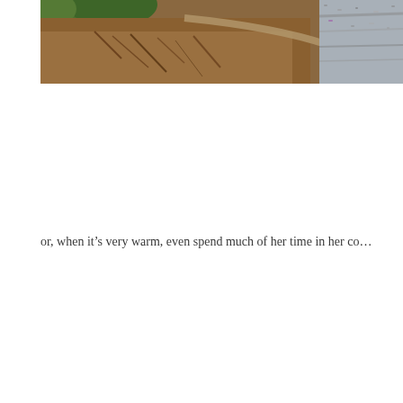[Figure (photo): Outdoor photograph showing a garden or landscaped area with soil, plant roots or small plants visible, a curved stone or concrete border, and gravel or pavement to the right side.]
or, when it’s very warm, even spend much of her time in her co…